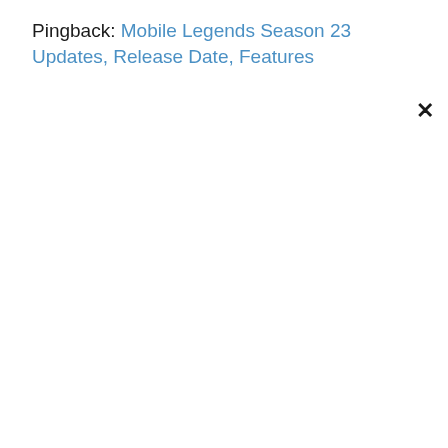Pingback: Mobile Legends Season 23 Updates, Release Date, Features